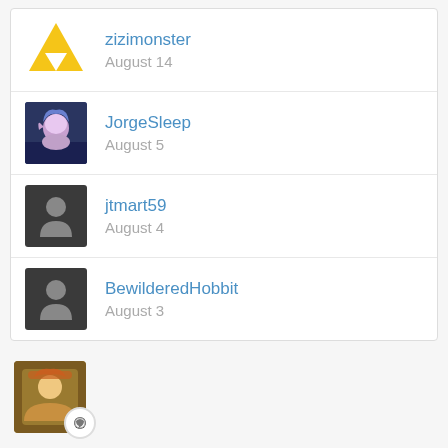zizimonster — August 14
JorgeSleep — August 5
jtmart59 — August 4
BewilderedHobbit — August 3
[Figure (illustration): User avatar with anime character with pink hair and hat]
Fully Kitted Glitched
iFraaN97 replied to epic_heroxx's topic in Apex Legends
Next season starts on August 9, that's the only hope.
August 3   44 replies